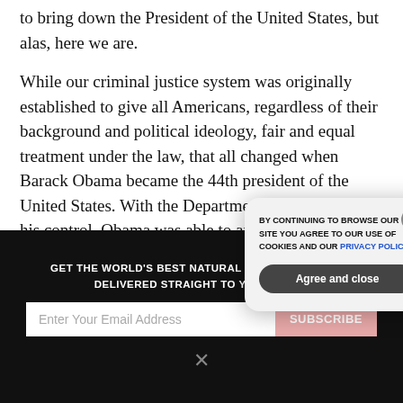to bring down the President of the United States, but alas, here we are.
While our criminal justice system was originally established to give all Americans, regardless of their background and political ideology, fair and equal treatment under the law, that all changed when Barack Obama became the 44th president of the United States. With the Department of Justice under his control, Obama was able to appoint radical leftists like Eric Holder and Loretta Lynch to do his bidding,
[Figure (screenshot): Dark newsletter signup banner with email input field, subscribe button, and a cookie consent modal overlay. The modal contains text: 'BY CONTINUING TO BROWSE OUR SITE YOU AGREE TO OUR USE OF COOKIES AND OUR PRIVACY POLICY.' with an 'Agree and close' button and an X close button.]